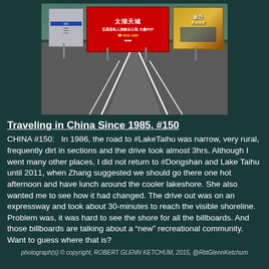[Figure (photo): Road scene in China with large billboards including a prominent red Chinese billboard for Taihu Tiancheng, smaller gray billboard on left, and a golden/orange billboard on right. Road in foreground with white lane markings and divider, greenery in background.]
Traveling in China Since 1985, #150
CHINA #150:   In 1986, the road to #LakeTaihu was narrow, very rural, frequently dirt in sections and the drive took almost 3hrs. Although I went many other places, I did not return to #Dongshan and Lake Taihu until 2011, when Zhang suggested we should go there one hot afternoon and have lunch around the cooler lakeshore. She also wanted me to see how it had changed. The drive out was on an expressway and took about 30-minutes to reach the visible shoreline. Problem was, it was hard to see the shore for all the billboards. And those billboards are talking about a “new” recreational community. Want to guess where that is?
photograph(s) © copyright, ROBERT GLENN KETCHUM, 2015, @RbtGlennKetchum